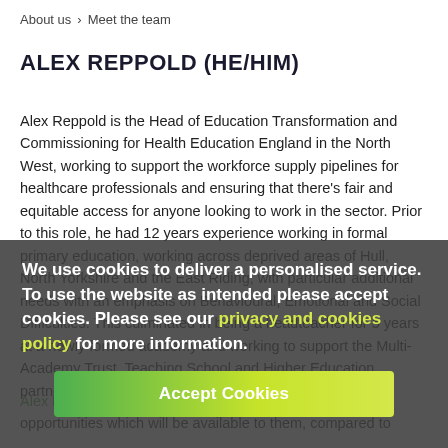About us > Meet the team
ALEX REPPOLD (HE/HIM)
Alex Reppold is the Head of Education Transformation and Commissioning for Health Education England in the North West, working to support the workforce supply pipelines for healthcare professionals and ensuring that there's fair and equitable access for anyone looking to work in the sector. Prior to this role, he had 12 years experience working in formal primary education, working across deprived areas of Hull, North Yorkshire and the East Riding, with particular additional needs with an emphasis on Behavioural, Emotional and Social Difficulties. This culminated in being a headteacher for 5 years at a newly formed academy and working to support the Multi-Academy Trust, Teaching School and Higher Education partners in teacher training and leadership development.
We use cookies to deliver a personalised service. To use the website as intended please accept cookies. Please see our privacy and cookies policy for more information.
Alex has 2 young daughters, and having reflected on the opportunities which will be available to them, compared to